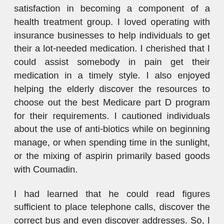satisfaction in becoming a component of a health treatment group. I loved operating with insurance businesses to help individuals to get their a lot-needed medication. I cherished that I could assist somebody in pain get their medication in a timely style. I also enjoyed helping the elderly discover the resources to choose out the best Medicare part D program for their requirements. I cautioned individuals about the use of anti-biotics while on beginning manage, or when spending time in the sunlight, or the mixing of aspirin primarily based goods with Coumadin.
I had learned that he could read figures sufficient to place telephone calls, discover the correct bus and even discover addresses. So, I determined pharmacy technician career to slip him a note when we crossed paths at the bus quit once more. I was in the procedure of addressing little children's Valentine Playing cards to share with my office-mates. I took 1 of those juvenile cards and wrote a little be aware with my number on the back again.